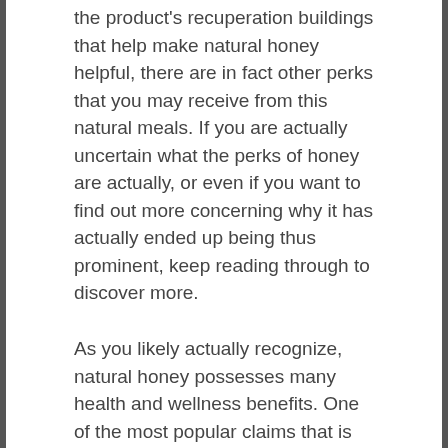the product's recuperation buildings that help make natural honey helpful, there are in fact other perks that you may receive from this natural meals. If you are actually uncertain what the perks of honey are actually, or even if you want to find out more concerning why it has actually ended up being thus prominent, keep reading through to discover more.
As you likely actually recognize, natural honey possesses many health and wellness benefits. One of the most popular claims that is actually produced about honey is that it can easily aid protect against the development of certain kinds of cancers.
Honey Fungsi vitabumin has also been presented to enhance your body immune system. It has also been shown to strengthen the functionality of the endocrine